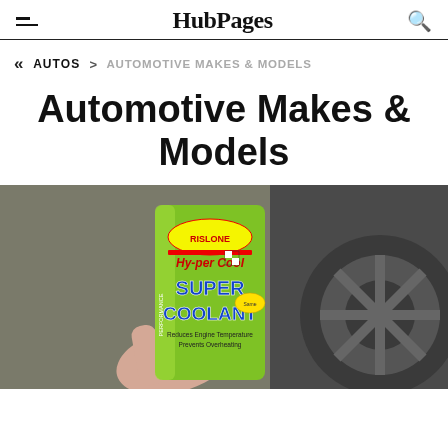HubPages
« AUTOS > AUTOMOTIVE MAKES & MODELS
Automotive Makes & Models
[Figure (photo): A hand holding a green can of Rislone Hy-per Cool Super Coolant product, with a car wheel/brake visible in the background]